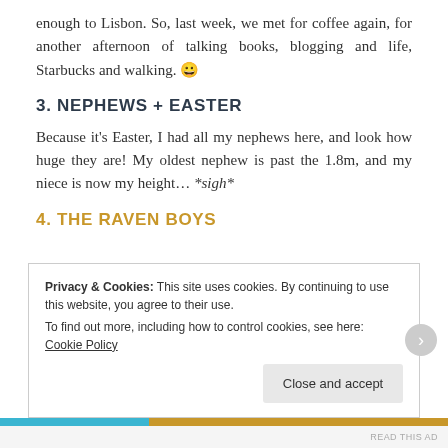enough to Lisbon. So, last week, we met for coffee again, for another afternoon of talking books, blogging and life, Starbucks and walking. 😀
3. NEPHEWS + EASTER
Because it's Easter, I had all my nephews here, and look how huge they are! My oldest nephew is past the 1.8m, and my niece is now my height… *sigh*
4. THE RAVEN BOYS
Privacy & Cookies: This site uses cookies. By continuing to use this website, you agree to their use. To find out more, including how to control cookies, see here: Cookie Policy
Close and accept